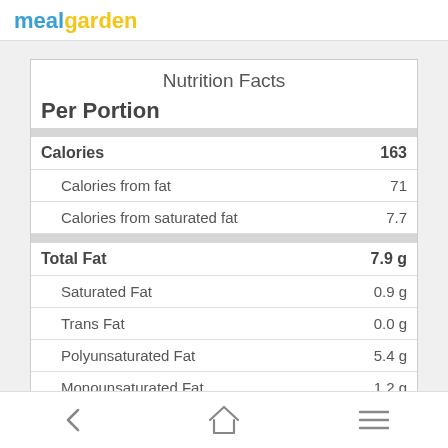mealgarden
Nutrition Facts
Per Portion
| Nutrient | Amount |
| --- | --- |
| Calories | 163 |
| Calories from fat | 71 |
| Calories from saturated fat | 7.7 |
| Total Fat | 7.9 g |
| Saturated Fat | 0.9 g |
| Trans Fat | 0.0 g |
| Polyunsaturated Fat | 5.4 g |
| Monounsaturated Fat | 1.2 g |
| Cholesterol |  |
| Sodium |  |
Navigation bar with back arrow, home, and menu icons